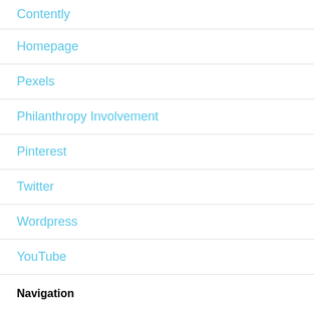Contently
Homepage
Pexels
Philanthropy Involvement
Pinterest
Twitter
Wordpress
YouTube
Navigation